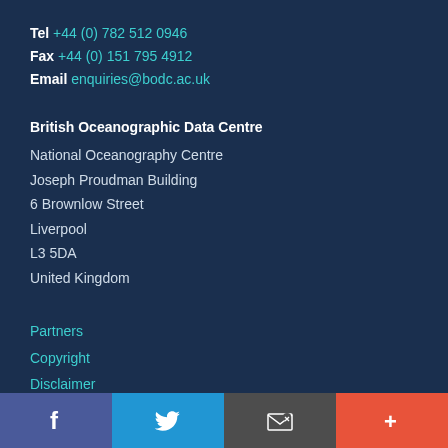Tel +44 (0) 782 512 0946
Fax +44 (0) 151 795 4912
Email enquiries@bodc.ac.uk
British Oceanographic Data Centre
National Oceanography Centre
Joseph Proudman Building
6 Brownlow Street
Liverpool
L3 5DA
United Kingdom
Partners
Copyright
Disclaimer
Social links bar: Facebook, Twitter, Email, More